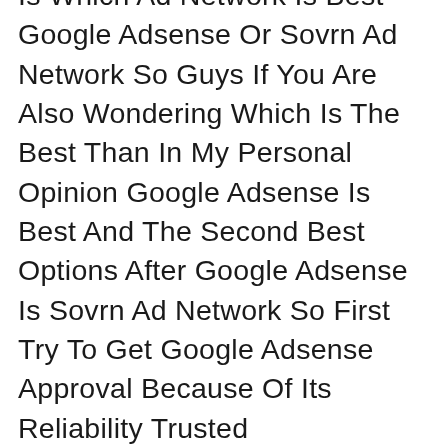Now The Most Asked Question Is Which Ad Network Is Best Google Adsense Or Sovrn Ad Network So Guys If You Are Also Wondering Which Is The Best Than In My Personal Opinion Google Adsense Is Best And The Second Best Options After Google Adsense Is Sovrn Ad Network So First Try To Get Google Adsense Approval Because Of Its Reliability Trusted